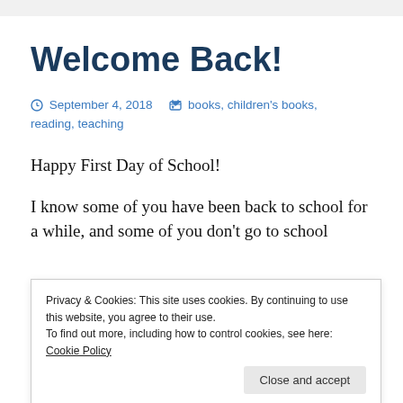Welcome Back!
September 4, 2018   books, children's books, reading, teaching
Happy First Day of School!
I know some of you have been back to school for a while, and some of you don't go to school
Privacy & Cookies: This site uses cookies. By continuing to use this website, you agree to their use.
To find out more, including how to control cookies, see here: Cookie Policy
literature circles. It's a good mix of some old